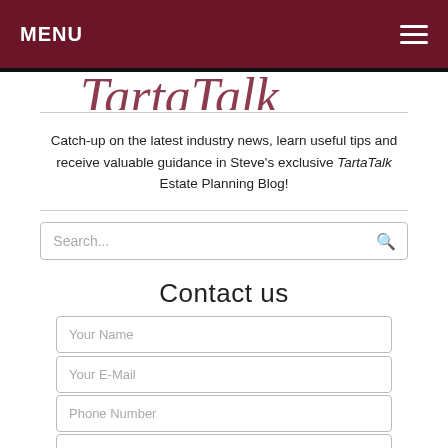MENU
[Figure (illustration): Partial cropped logo in dark red/maroon cursive text, only partially visible at top]
Catch-up on the latest industry news, learn useful tips and receive valuable guidance in Steve's exclusive TartaTalk Estate Planning Blog!
Contact us
Your Name
Your E-Mail
Phone Number
Subject
Message